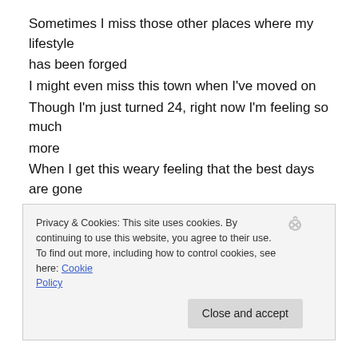Sometimes I miss those other places where my lifestyle has been forged
I might even miss this town when I've moved on
Though I'm just turned 24, right now I'm feeling so much more
When I get this weary feeling that the best days are gone
The best days are gone

Other times I felt so low and wanted what was lost
Are hidden in a mist of golden days
But mostly I was happy, though I didn't know it then
Privacy & Cookies: This site uses cookies. By continuing to use this website, you agree to their use.
To find out more, including how to control cookies, see here: Cookie Policy
Close and accept